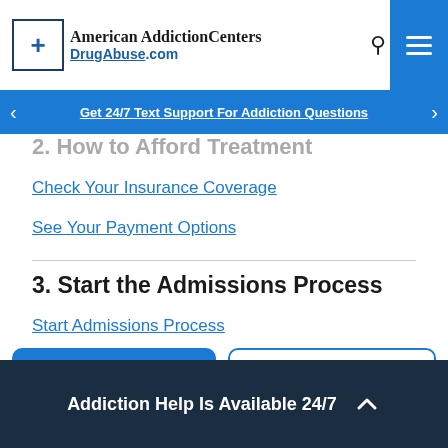American Addiction Centers DrugAbuse.com
Get 24/7 Text Support For Addiction Questions
2. How to Afford Treatment
Check Your Insurance Coverage
See Your Payment Options
3. Start the Admissions Process
Start Admissions Process
Call (877) 810-0426
Receive Text Support
Addiction Help Is Available 24/7